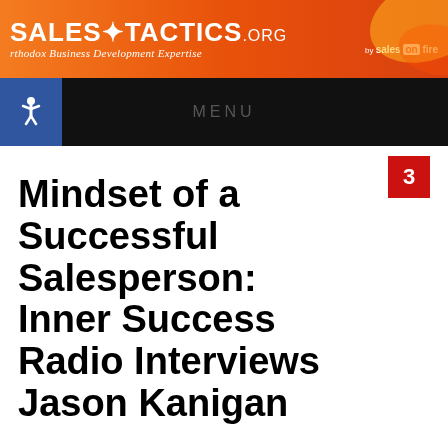[Figure (logo): SalesTactics.org banner logo with orange gradient background and 'Sales on Fire' branding. Subtitle: 'rthodox Business Development Expertise']
MENU
Mindset of a Successful Salesperson: Inner Success Radio Interviews Jason Kanigan
3